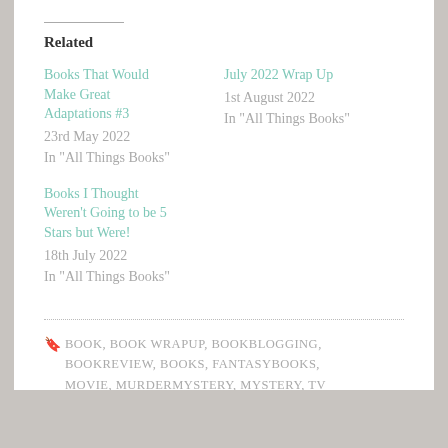Related
Books That Would Make Great Adaptations #3
23rd May 2022
In "All Things Books"
July 2022 Wrap Up
1st August 2022
In "All Things Books"
Books I Thought Weren't Going to be 5 Stars but Were!
18th July 2022
In "All Things Books"
BOOK, BOOK WRAPUP, BOOKBLOGGING, BOOKREVIEW, BOOKS, FANTASYBOOKS, MOVIE, MURDERMYSTERY, MYSTERY, TV